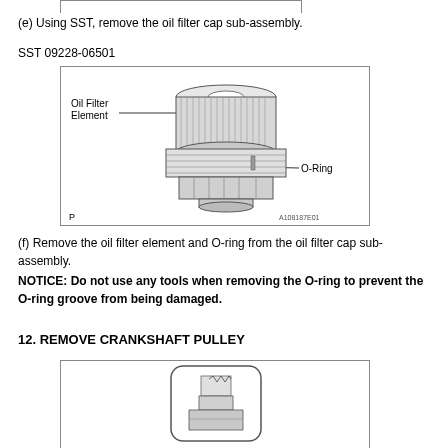(e) Using SST, remove the oil filter cap sub-assembly.
SST 09228-06501
[Figure (engineering-diagram): Engineering diagram of an oil filter cap sub-assembly showing the Oil Filter Element labeled at the top left with a line pointing to the ribbed cylindrical filter element, and O-Ring labeled at the right with a line pointing to the O-ring groove on the lower body. Reference code A108187E01 and letter P shown.]
(f) Remove the oil filter element and O-ring from the oil filter cap sub-assembly.
NOTICE: Do not use any tools when removing the O-ring to prevent the O-ring groove from being damaged.
12. REMOVE CRANKSHAFT PULLEY
[Figure (engineering-diagram): Partial engineering diagram of crankshaft pulley removal procedure, cropped at bottom of page.]